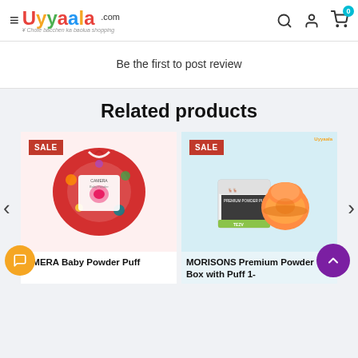Uyyaala.com — Chote bacchen ka baolua shopping
Be the first to post review
Related products
[Figure (photo): Baby powder puff product on red background with SALE badge]
[Figure (photo): MORISONS Premium Powder Box with Puff product with SALE badge]
AMERA Baby Powder Puff
MORISONS Premium Powder Box with Puff 1-